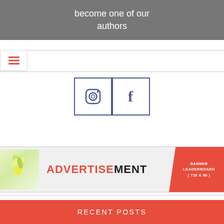become one of our authors
[Figure (screenshot): Navigation bar with hamburger menu icon in red/orange color on left side, with horizontal lines forming three-bar icon]
[Figure (infographic): Two social media icon boxes side by side: Instagram icon (camera outline) and Facebook icon (letter f), both in dark navy/slate blue outlined square boxes]
[Figure (infographic): Advertisement leaderboard banner 728x90 with flower image on left, ADVERTISEMENT text in red and black in center, and red polygon shape on right with BANNER LEADERBOARD (728 X 90) text]
RECENT POSTS